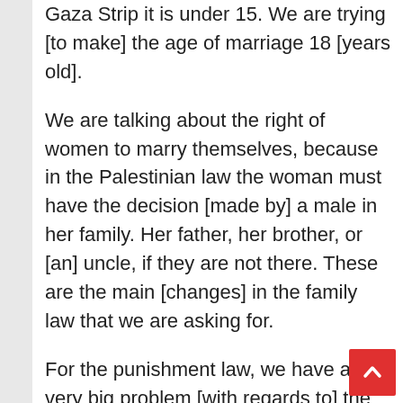Gaza Strip it is under 15. We are trying [to make] the age of marriage 18 [years old].
We are talking about the right of women to marry themselves, because in the Palestinian law the woman must have the decision [made by] a male in her family. Her father, her brother, or [an] uncle, if they are not there. These are the main [changes] in the family law that we are asking for.
For the punishment law, we have a very big problem [with regards to] the honour killings, which gives [a] small sentence [to] the male who kills the female under the honor excuse. That makes many crimes against women go on through the society under the honor killing excuse.